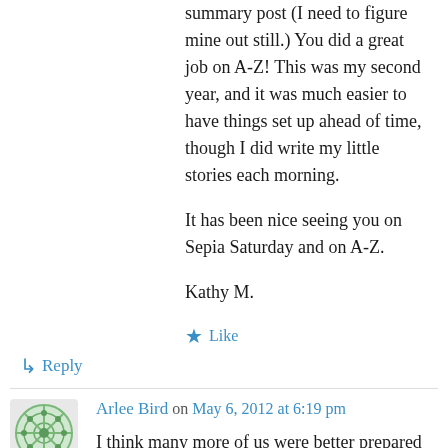summary post (I need to figure mine out still.) You did a great job on A-Z! This was my second year, and it was much easier to have things set up ahead of time, though I did write my little stories each morning.
It has been nice seeing you on Sepia Saturday and on A-Z.
Kathy M.
↳ Reply
Arlee Bird on May 6, 2012 at 6:19 pm
I think many more of us were better prepared this year and went with advanced scheduling